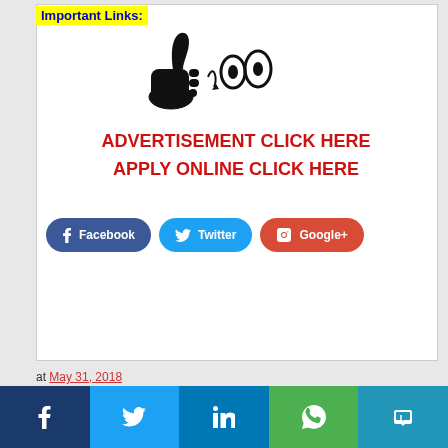Important Links:
[Figure (illustration): Thumbs up and eyes cartoon icons]
ADVERTISEMENT CLICK HERE
APPLY ONLINE CLICK HERE
[Figure (infographic): Social share buttons: Facebook, Twitter, Google+]
at May 31, 2018
[Figure (infographic): Bottom social share bar with Facebook, Twitter, LinkedIn, WhatsApp, Telegram icons]